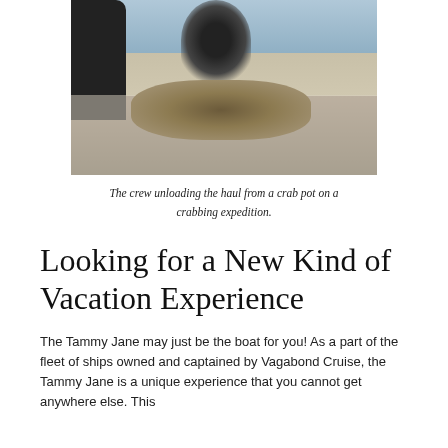[Figure (photo): A photo of a crew member unloading the haul from a crab pot on a boat deck during a crabbing expedition. A black wire crab trap/pot is visible, with crabs and sea life spilling onto a white table surface. The background shows the ocean and boat structure.]
The crew unloading the haul from a crab pot on a crabbing expedition.
Looking for a New Kind of Vacation Experience
The Tammy Jane may just be the boat for you! As a part of the fleet of ships owned and captained by Vagabond Cruise, the Tammy Jane is a unique experience that you cannot get anywhere else. This